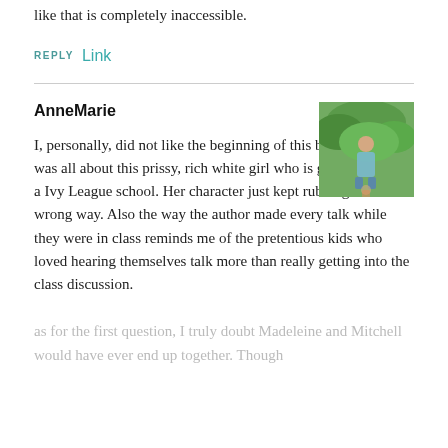like that is completely inaccessible.
REPLY Link
AnneMarie
[Figure (photo): Avatar photo of a person outdoors in a green setting, square thumbnail]
I, personally, did not like the beginning of this book at all. It was all about this prissy, rich white girl who is graduating from a Ivy League school. Her character just kept rubbing me the wrong way. Also the way the author made every talk while they were in class reminds me of the pretentious kids who loved hearing themselves talk more than really getting into the class discussion.
as for the first question, I truly doubt Madeleine and Mitchell would have ever end up together. Though